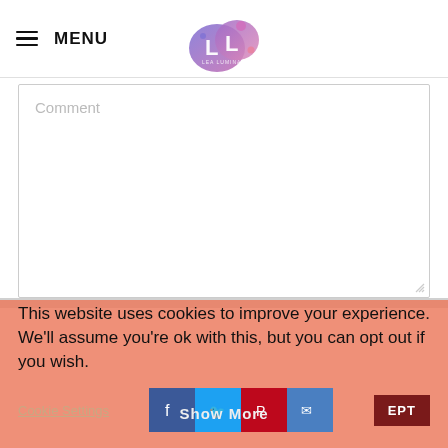≡ MENU
[Figure (logo): Logo with two overlapping circles showing letters L L with colorful pink-blue gradient blob shape]
Comment
This website uses cookies to improve your experience. We'll assume you're ok with this, but you can opt out if you wish.
Cookie Settings  Show More  ACCEPT